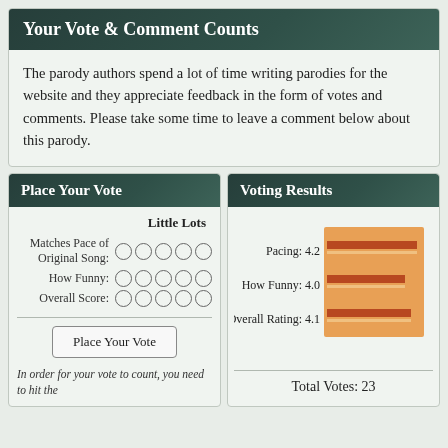Your Vote & Comment Counts
The parody authors spend a lot of time writing parodies for the website and they appreciate feedback in the form of votes and comments. Please take some time to leave a comment below about this parody.
Place Your Vote
Little Lots
Matches Pace of Original Song: ○○○○○
How Funny: ○○○○○
Overall Score: ○○○○○
Place Your Vote
In order for your vote to count, you need to hit the
Voting Results
[Figure (bar-chart): Voting Results]
Total Votes: 23